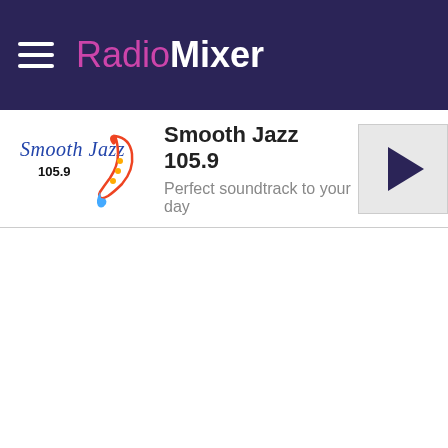RadioMixer
[Figure (logo): Smooth Jazz 105.9 station logo with cursive text and saxophone graphic]
Smooth Jazz 105.9
Perfect soundtrack to your day